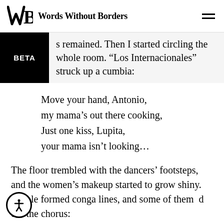Words Without Borders
s remained. Then I started circling the whole room. “Los Internacionales” struck up a cumbia:
Move your hand, Antonio,
my mama’s out there cooking,
Just one kiss, Lupita,
your mama isn’t looking…
The floor trembled with the dancers’ footsteps, and the women’s makeup started to grow shiny. People formed conga lines, and some of them ed out the chorus: